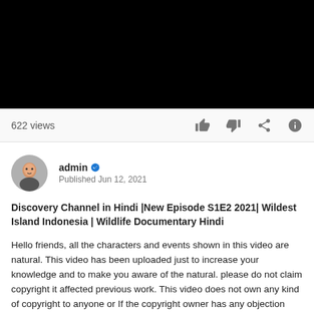[Figure (screenshot): Black video player area at top of page]
622 views
admin
Published Jun 12, 2021
Discovery Channel in Hindi |New Episode S1E2 2021| Wildest Island Indonesia | Wildlife Documentary Hindi
Hello friends, all the characters and events shown in this video are natural. This video has been uploaded just to increase your knowledge and to make you aware of the natural. please do not claim copyright it affected previous work. This video does not own any kind of copyright to anyone or If the copyright owner has any objection with this video, please WhatsApp 8090380760